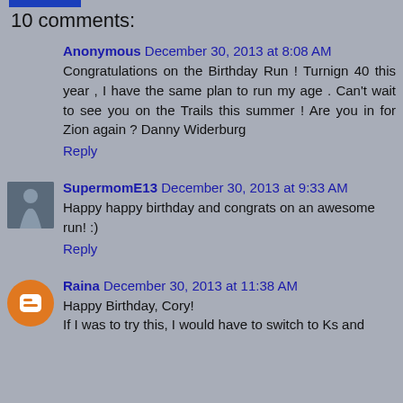10 comments:
Anonymous December 30, 2013 at 8:08 AM
Congratulations on the Birthday Run ! Turnign 40 this year , I have the same plan to run my age . Can't wait to see you on the Trails this summer ! Are you in for Zion again ? Danny Widerburg
Reply
SupermomE13 December 30, 2013 at 9:33 AM
Happy happy birthday and congrats on an awesome run! :)
Reply
Raina December 30, 2013 at 11:38 AM
Happy Birthday, Cory!
If I was to try this, I would have to switch to Ks and